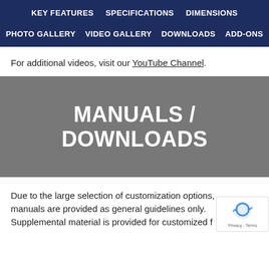KEY FEATURES   SPECIFICATIONS   DIMENSIONS
PHOTO GALLERY   VIDEO GALLERY   DOWNLOADS   ADD-ONS
For additional videos, visit our YouTube Channel.
MANUALS / DOWNLOADS
Due to the large selection of customization options, manuals are provided as general guidelines only. Supplemental material is provided for customized f